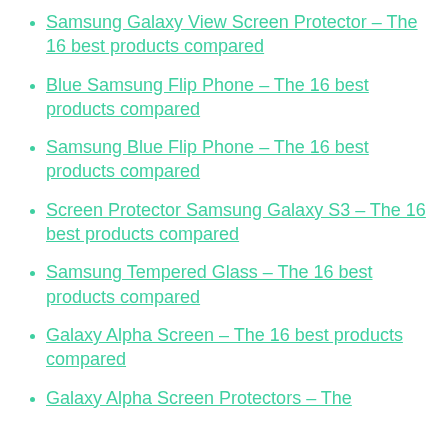Samsung Galaxy View Screen Protector – The 16 best products compared
Blue Samsung Flip Phone – The 16 best products compared
Samsung Blue Flip Phone – The 16 best products compared
Screen Protector Samsung Galaxy S3 – The 16 best products compared
Samsung Tempered Glass – The 16 best products compared
Galaxy Alpha Screen – The 16 best products compared
Galaxy Alpha Screen Protectors – The